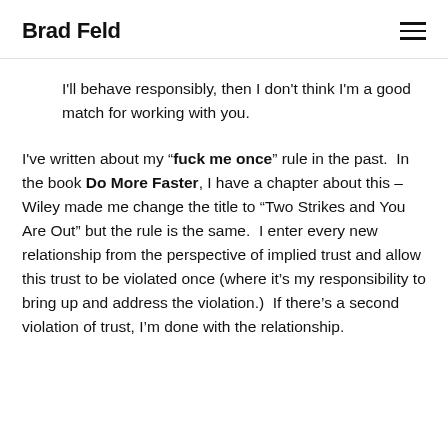Brad Feld
I'll behave responsibly, then I don't think I'm a good match for working with you.
I've written about my “fuck me once” rule in the past.  In the book Do More Faster, I have a chapter about this – Wiley made me change the title to “Two Strikes and You Are Out” but the rule is the same.  I enter every new relationship from the perspective of implied trust and allow this trust to be violated once (where it’s my responsibility to bring up and address the violation.)  If there’s a second violation of trust, I’m done with the relationship.